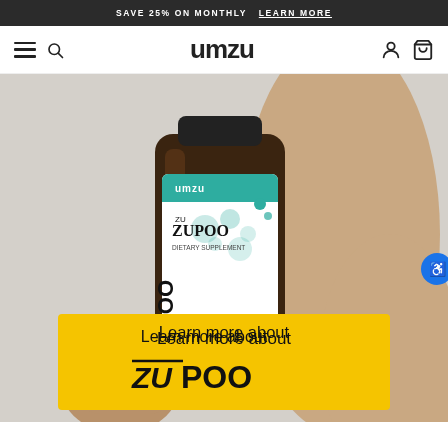SAVE 25% ON MONTHLY  LEARN MORE
[Figure (logo): umzu brand logo in black bold text]
[Figure (photo): Person holding a dark amber glass bottle of ZUPOO dietary supplement by UMZU. A yellow banner overlay reads 'Learn more about ZUPOO' in bold black text.]